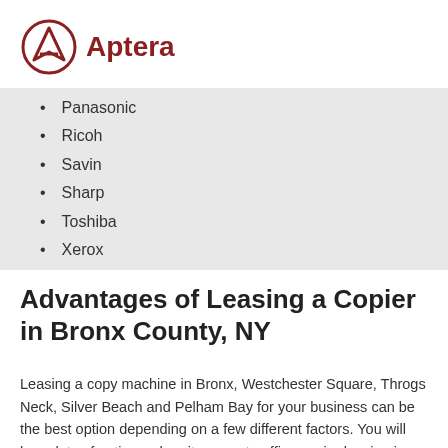Aptera
Panasonic
Ricoh
Savin
Sharp
Toshiba
Xerox
Advantages of Leasing a Copier in Bronx County, NY
Leasing a copy machine in Bronx, Westchester Square, Throgs Neck, Silver Beach and Pelham Bay for your business can be the best option depending on a few different factors. You will have lots of options when it comes to office copier leasing in Bronx County from local dealers. Local dealers work with all types of businesses,